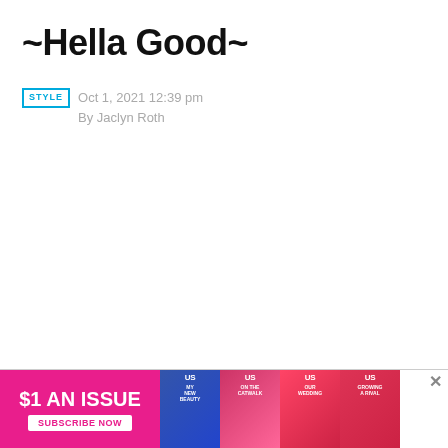~Hella Good~
STYLE  Oct 1, 2021 12:39 pm
By Jaclyn Roth
[Figure (infographic): Advertisement banner at bottom: '$1 AN ISSUE — SUBSCRIBE NOW' with magazine cover images]